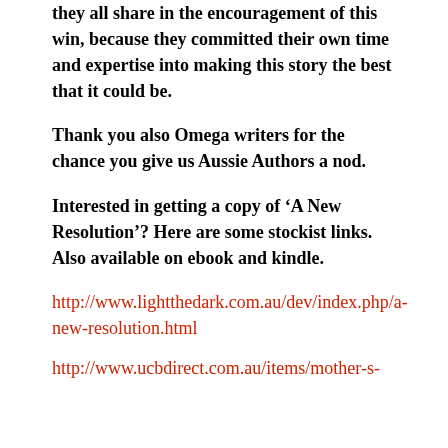they all share in the encouragement of this win, because they committed their own time and expertise into making this story the best that it could be.
Thank you also Omega writers for the chance you give us Aussie Authors a nod.
Interested in getting a copy of ‘A New Resolution’? Here are some stockist links. Also available on ebook and kindle.
http://www.lightthedark.com.au/dev/index.php/a-new-resolution.html
http://www.ucbdirect.com.au/items/mother-s-